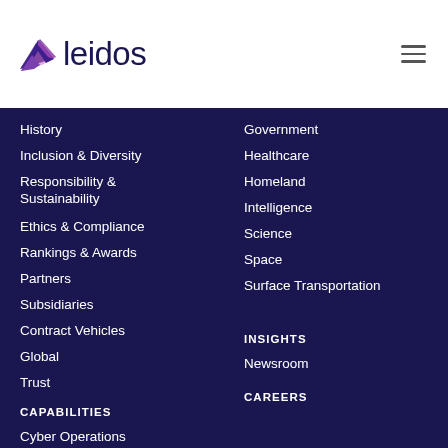[Figure (logo): Leidos company logo with purple triangle/arrow icon and 'leidos' wordmark in dark navy]
History
Inclusion & Diversity
Responsibility & Sustainability
Ethics & Compliance
Rankings & Awards
Partners
Subsidiaries
Contract Vehicles
Global
Trust
CAPABILITIES
Cyber Operations
Digital Modernization
Government
Healthcare
Homeland
Intelligence
Science
Space
Surface Transportation
INSIGHTS
Newsroom
CAREERS